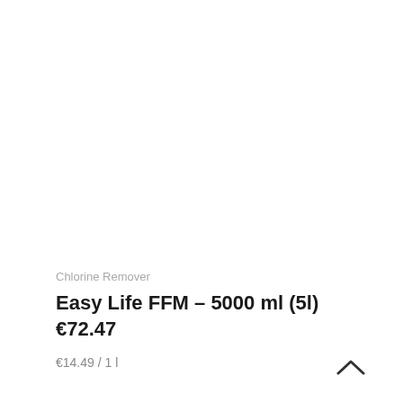Chlorine Remover
Easy Life FFM – 5000 ml (5l)
€72.47
€14.49 / 1 l